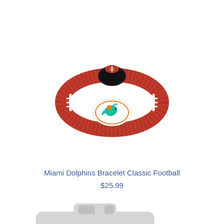[Figure (photo): Miami Dolphins Classic Football Bracelet — brown football-texture leather band with white lace accents, black snap clasp at top with small football-shaped bead, and a white oval medallion in the center featuring the Miami Dolphins dolphin logo in teal and orange.]
Miami Dolphins Bracelet Classic Football
$25.99
[Figure (other): Gray camera placeholder icon indicating a missing or unavailable product image.]